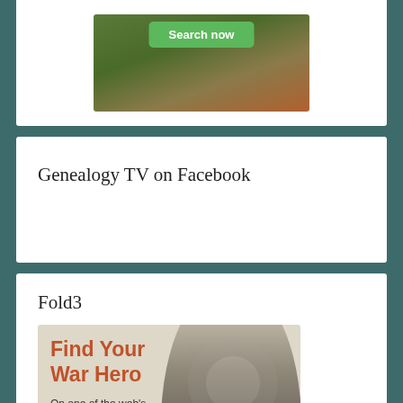[Figure (other): Partial advertisement showing a green 'Search now' button over an outdoor/nature background with people]
Genealogy TV on Facebook
Fold3
[Figure (other): Fold3 advertisement: 'Find Your War Hero - On one of the web's largest collection of military records' with image of a WWII soldier]